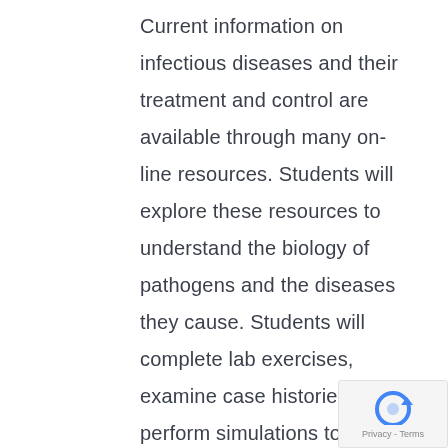Current information on infectious diseases and their treatment and control are available through many on-line resources. Students will explore these resources to understand the biology of pathogens and the diseases they cause. Students will complete lab exercises, examine case histories, and perform simulations to better understand the impact of infectious diseases on populations. A final student-created project will allow students to demonstrate their understanding of the need for collaboration between scientists, biostatisticians, farmers, veterinarians,
[Figure (other): reCAPTCHA badge with circular arrow icon and Privacy - Terms text]